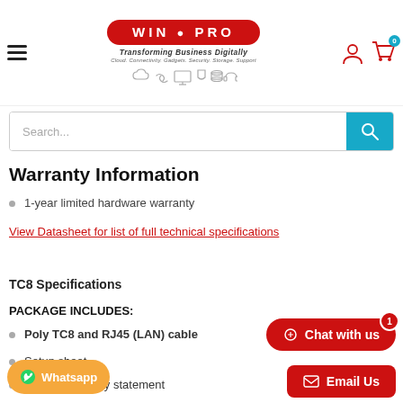[Figure (logo): WIN PRO logo with red oval, tagline 'Transforming Business Digitally', subtext 'Cloud. Connectivity. Gadgets. Security. Storage. Support', and category icons]
Search...
Warranty Information
1-year limited hardware warranty
View Datasheet for list of full technical specifications
TC8 Specifications
PACKAGE INCLUDES:
Poly TC8 and RJ45 (LAN) cable
Setup sheet
Limited warranty statement